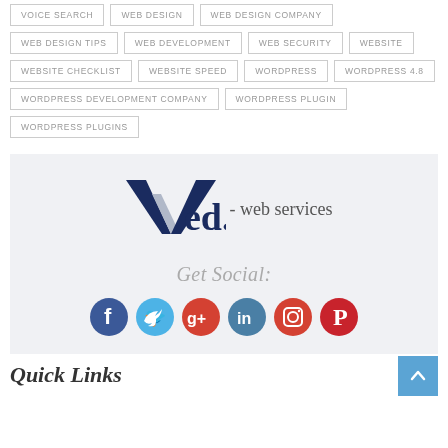VOICE SEARCH
WEB DESIGN
WEB DESIGN COMPANY
WEB DESIGN TIPS
WEB DEVELOPMENT
WEB SECURITY
WEBSITE
WEBSITE CHECKLIST
WEBSITE SPEED
WORDPRESS
WORDPRESS 4.8
WORDPRESS DEVELOPMENT COMPANY
WORDPRESS PLUGIN
WORDPRESS PLUGINS
[Figure (logo): Ved. - web services logo with stylized navy/grey V checkmark and text]
Get Social:
[Figure (infographic): Social media icons: Facebook, Twitter, Google+, LinkedIn, Instagram, Pinterest]
Quick Links